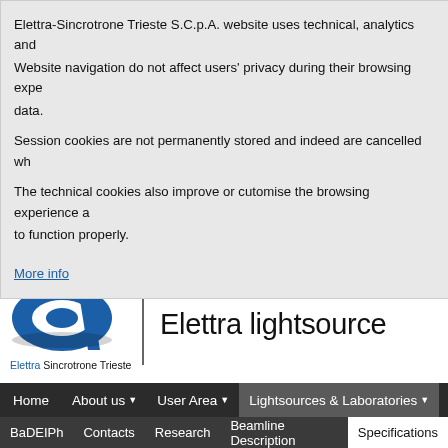Elettra-Sincrotrone Trieste S.C.p.A. website uses technical, analytics and Website navigation do not affect users' privacy during their browsing expe data.
Session cookies are not permanently stored and indeed are cancelled wh
The technical cookies also improve or cutomise the browsing experience a to function properly.
More info
[Figure (logo): Elettra Sincrotrone Trieste logo - blue stylized letter e with italic slash]
Elettra lightsource
Home  About us  User Area  Lightsources & Laboratories
BaDEIPh  Contacts  Research  Beamline Description  Specifications
BaDEIPh Specifications